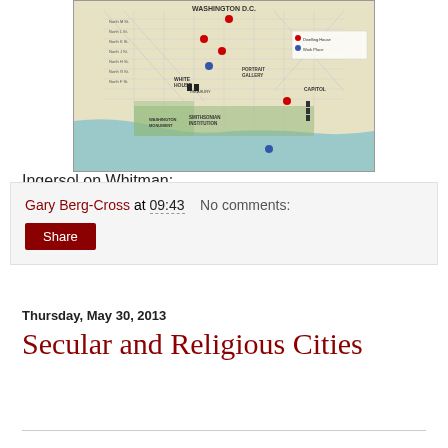[Figure (map): Map of Washington D.C. showing streets, landmarks including White House, Treasury, Smithsonian Institution, Washington Monument, Capitol, and Portrait Gallery, with colored markers for dwelling houses and work places.]
Ingersol on Whitman: http://www.robertgreeningersoll.org/?attachment_id=284
Gary Berg-Cross at 09:43   No comments:
Share
Thursday, May 30, 2013
Secular and Religious Cities